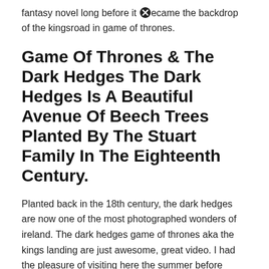fantasy novel long before it became the backdrop of the kingsroad in game of thrones.
Game Of Thrones & The Dark Hedges The Dark Hedges Is A Beautiful Avenue Of Beech Trees Planted By The Stuart Family In The Eighteenth Century.
Planted back in the 18th century, the dark hedges are now one of the most photographed wonders of ireland. The dark hedges game of thrones aka the kings landing are just awesome, great video. I had the pleasure of visiting here the summer before lockdown and look forward to visiting once again.